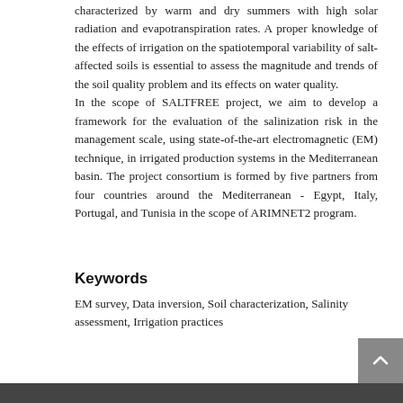characterized by warm and dry summers with high solar radiation and evapotranspiration rates. A proper knowledge of the effects of irrigation on the spatiotemporal variability of salt-affected soils is essential to assess the magnitude and trends of the soil quality problem and its effects on water quality.
In the scope of SALTFREE project, we aim to develop a framework for the evaluation of the salinization risk in the management scale, using state-of-the-art electromagnetic (EM) technique, in irrigated production systems in the Mediterranean basin. The project consortium is formed by five partners from four countries around the Mediterranean - Egypt, Italy, Portugal, and Tunisia in the scope of ARIMNET2 program.
Keywords
EM survey, Data inversion, Soil characterization, Salinity assessment, Irrigation practices